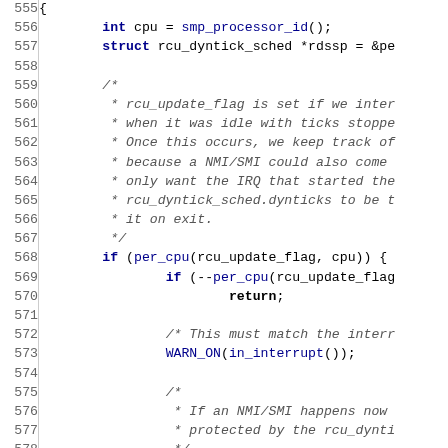[Figure (screenshot): Source code listing showing C kernel code lines 555-584, with line numbers on the left, featuring keywords in dark blue bold, function names in blue, and comments in gray italic monospace font.]